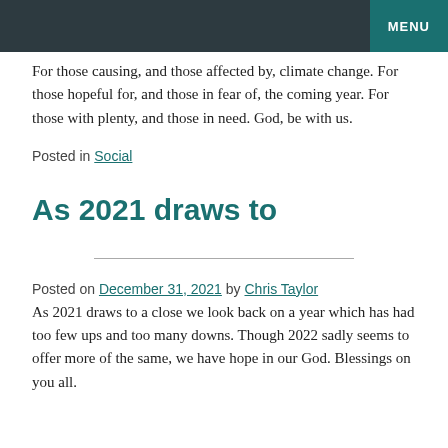MENU
For those causing, and those affected by, climate change. For those hopeful for, and those in fear of, the coming year. For those with plenty, and those in need. God, be with us.
Posted in Social
As 2021 draws to
Posted on December 31, 2021 by Chris Taylor
As 2021 draws to a close we look back on a year which has had too few ups and too many downs. Though 2022 sadly seems to offer more of the same, we have hope in our God. Blessings on you all.